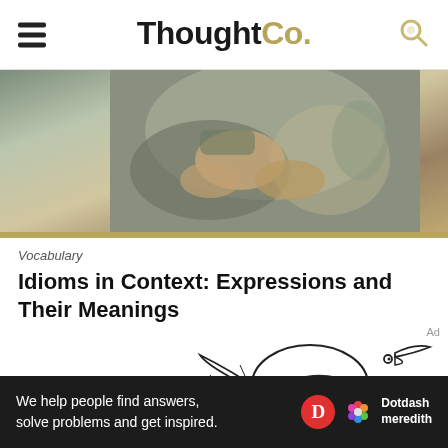ThoughtCo.
[Figure (photo): A person eating or handling food, hands visible, blurred background, kitchen setting]
Vocabulary
Idioms in Context: Expressions and Their Meanings
[Figure (illustration): Hand-drawn illustration of a bird with open beak, striped feathers on body and wings]
We help people find answers, solve problems and get inspired.